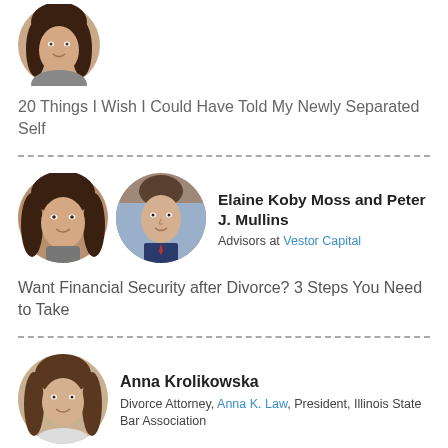[Figure (photo): Circular headshot photo of a woman with dark hair]
20 Things I Wish I Could Have Told My Newly Separated Self
[Figure (photo): Circular headshot photo of a woman with dark hair (Elaine Koby Moss)]
[Figure (photo): Circular headshot photo of a young man in a suit (Peter J. Mullins)]
Elaine Koby Moss and Peter J. Mullins
Advisors at Vestor Capital
Want Financial Security after Divorce? 3 Steps You Need to Take
[Figure (photo): Circular headshot photo of a woman (Anna Krolikowska)]
Anna Krolikowska
Divorce Attorney, Anna K. Law, President, Illinois State Bar Association